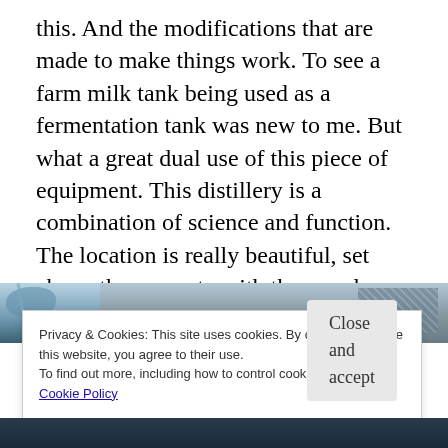this.  And the modifications that are made to make things work.  To see a farm milk tank being used as a fermentation tank was new to me.  But what a great dual use of this piece of equipment.  This distillery is a combination of science and function.  The location is really beautiful, set above the property with the woods as a backdrop.  I look forward to revisiting soon to see what projects are in the works.
[Figure (photo): A partial photo strip showing bare winter trees against a sky on the left and bare trees/woodland on the right side]
Privacy & Cookies: This site uses cookies. By continuing to use this website, you agree to their use.
To find out more, including how to control cookies, see here: Cookie Policy
Close and accept
[Figure (photo): Bottom portion of a photo showing what appears to be distillery equipment interior]